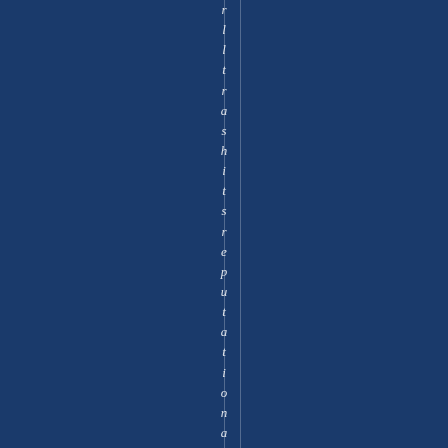[Figure (other): Dark navy blue background page with vertical italic white text reading 'r l l t r a s h i t s r e p u t a t i o n a s a p l a c e i' arranged character by character top to bottom along a vertical line in the center of the page]